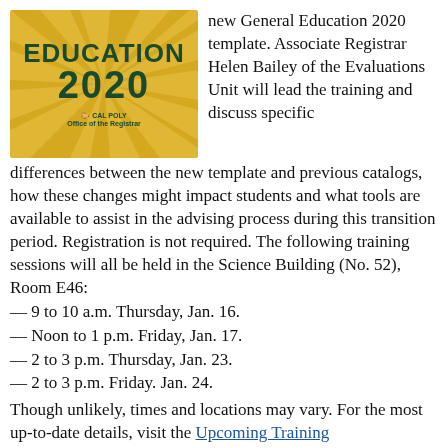[Figure (illustration): Cal Poly General Education 2020 logo/image with gold background, dark green text reading EDUCATION 2020 with radiating light rays and Cal Poly logo]
new General Education 2020 template. Associate Registrar Helen Bailey of the Evaluations Unit will lead the training and discuss specific differences between the new template and previous catalogs, how these changes might impact students and what tools are available to assist in the advising process during this transition period. Registration is not required. The following training sessions will all be held in the Science Building (No. 52), Room E46:
— 9 to 10 a.m. Thursday, Jan. 16.
— Noon to 1 p.m. Friday, Jan. 17.
— 2 to 3 p.m. Thursday, Jan. 23.
— 2 to 3 p.m. Friday. Jan. 24.
Though unlikely, times and locations may vary. For the most up-to-date details, visit the Upcoming Training